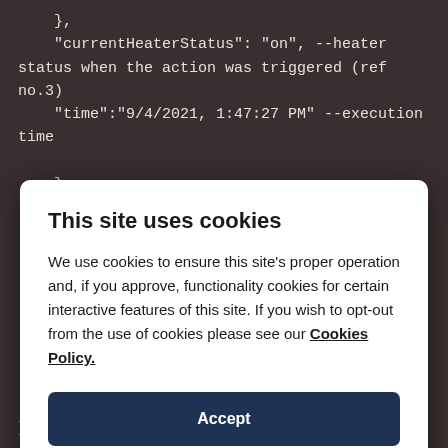},
"currentHeaterStatus": "on", --heater status when the action was triggered (ref no.3)
"time":"9/4/2021, 1:47:27 PM" --execution time
    }
}
This site uses cookies
We use cookies to ensure this site's proper operation and, if you approve, functionality cookies for certain interactive features of this site. If you wish to opt-out from the use of cookies please see our Cookies Policy.
Accept
Settings...